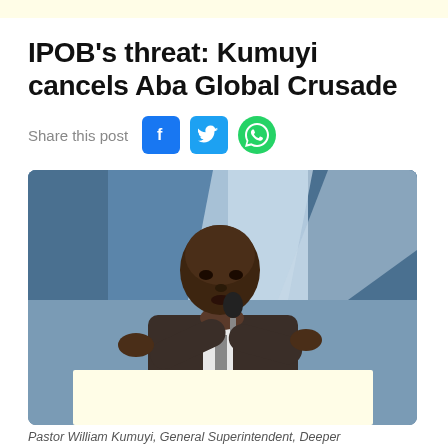IPOB's threat: Kumuyi cancels Aba Global Crusade
Share this post
[Figure (photo): Pastor William Kumuyi, General Superintendent, Deeper Life Bible Church, pointing finger and speaking into a microphone at an outdoor crusade event, wearing a brown suit and tie, with blue and white striped tent/canopy in the background.]
Pastor William Kumuyi, General Superintendent, Deeper